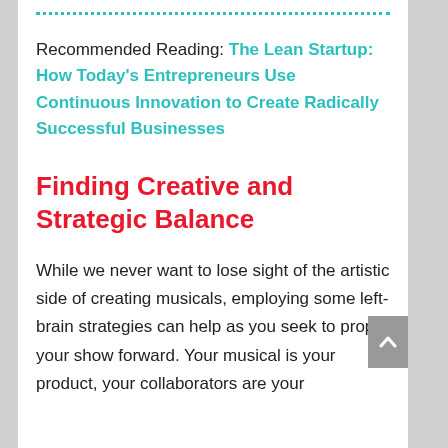Recommended Reading: The Lean Startup: How Today's Entrepreneurs Use Continuous Innovation to Create Radically Successful Businesses
Finding Creative and Strategic Balance
While we never want to lose sight of the artistic side of creating musicals, employing some left-brain strategies can help as you seek to propel your show forward. Your musical is your product, your collaborators are your